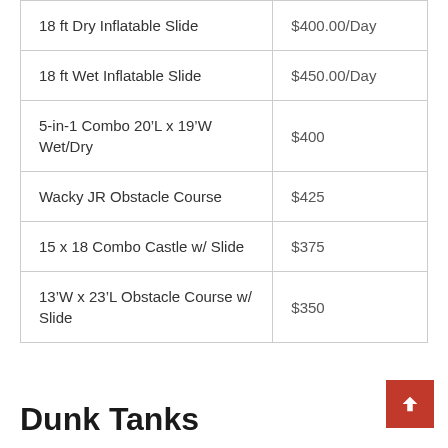| 18 ft Dry Inflatable Slide | $400.00/Day |
| 18 ft Wet Inflatable Slide | $450.00/Day |
| 5-in-1 Combo 20’L x 19’W Wet/Dry | $400 |
| Wacky JR Obstacle Course | $425 |
| 15 x 18 Combo Castle w/ Slide | $375 |
| 13’W x 23’L Obstacle Course w/ Slide | $350 |
Dunk Tanks